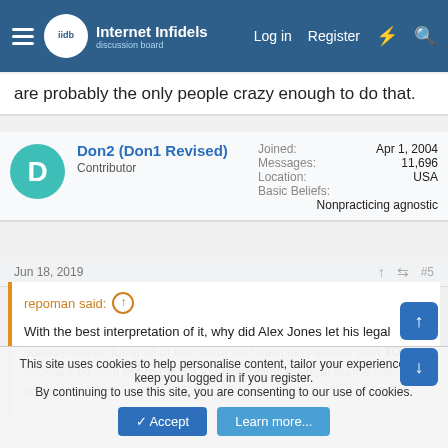Internet Infidels — Log in  Register
are probably the only people crazy enough to do that.
| Field | Value |
| --- | --- |
| Joined: | Apr 1, 2004 |
| Messages: | 11,696 |
| Location: | USA |
| Basic Beliefs: | Nonpracticing agnostic |
Don2 (Don1 Revised)
Contributor
Jun 18, 2019  #5
repoman said: ↑

With the best interpretation of it, why did Alex Jones let his legal counsel mass dump all of the spam and malicious emails sent TO Infowars be sent out to the Sandy Hook families legal teams without sorting?
This site uses cookies to help personalise content, tailor your experience and keep you logged in if you register.
By continuing to use this site, you are consenting to our use of cookies.